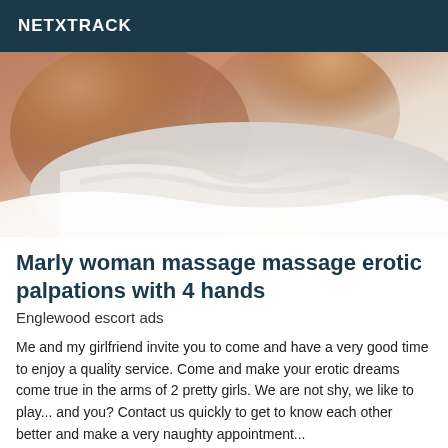NETXTRACK
[Figure (photo): Close-up photo of two people lying on white bed sheets, bodies partially visible]
Marly woman massage massage erotic palpations with 4 hands
Englewood escort ads
Me and my girlfriend invite you to come and have a very good time to enjoy a quality service. Come and make your erotic dreams come true in the arms of 2 pretty girls. We are not shy, we like to play... and you? Contact us quickly to get to know each other better and make a very naughty appointment...